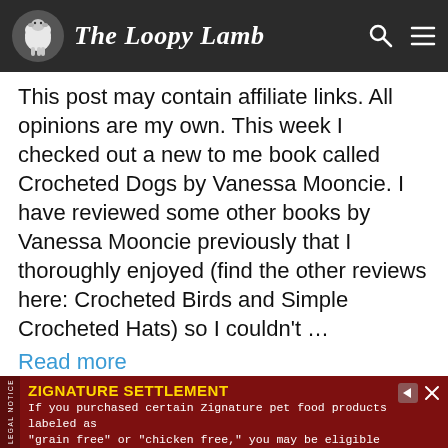The Loopy Lamb
This post may contain affiliate links. All opinions are my own. This week I checked out a new to me book called Crocheted Dogs by Vanessa Mooncie. I have reviewed some other books by Vanessa Mooncie previously that I thoroughly enjoyed (find the other reviews here: Crocheted Birds and Simple Crocheted Hats) so I couldn't …
Read more
[Figure (other): Chevron/down arrow button in a rounded rectangle]
[Figure (other): Advertisement banner: ZIGNATURE SETTLEMENT - If you purchased certain Zignature pet food products labeled as 'grain free' or 'chicken free,' you may be eligible for benefits]